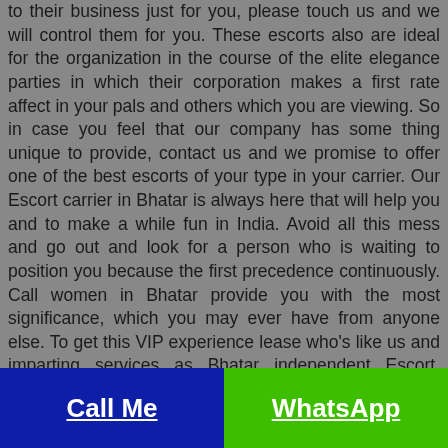to their business just for you, please touch us and we will control them for you. These escorts also are ideal for the organization in the course of the elite elegance parties in which their corporation makes a first rate affect in your pals and others which you are viewing. So in case you feel that our company has some thing unique to provide, contact us and we promise to offer one of the best escorts of your type in your carrier. Our Escort carrier in Bhatar is always here that will help you and to make a while fun in India. Avoid all this mess and go out and look for a person who is waiting to position you because the first precedence continuously. Call women in Bhatar provide you with the most significance, which you may ever have from anyone else. To get this VIP experience lease who's like us and imparting services as Bhatar independent Escort. There's no disgrace for hiring Bhatar Escorts service to meet your goals due to the fact every person desires peace and love of their live. We're just supplying a right way to make your lifestyles satisfied and physically glad via our Bhatar Escort fashions. It's going to cost you a piece heavy to your wallet however we're certain
Call Me | WhatsApp